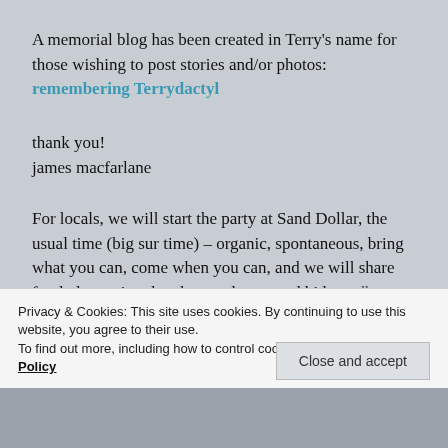A memorial blog has been created in Terry's name for those wishing to post stories and/or photos: remembering Terrydactyl
thank you!
james macfarlane
For locals, we will start the party at Sand Dollar, the usual time (big sur time) – organic, spontaneous, bring what you can, come when you can, and we will share food, drumming, laughter and song and bid goodbye to Terry as well as Jeff, whom we haven't
Privacy & Cookies: This site uses cookies. By continuing to use this website, you agree to their use.
To find out more, including how to control cookies, see here: Cookie Policy
Close and accept